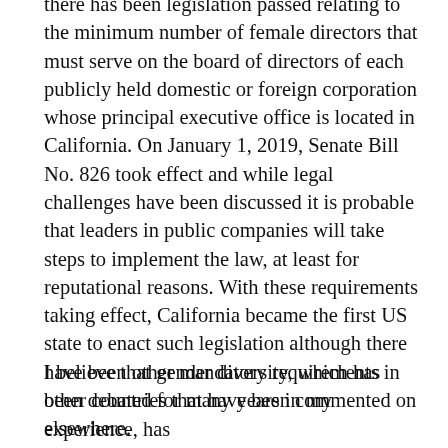there has been legislation passed relating to the minimum number of female directors that must serve on the board of directors of each publicly held domestic or foreign corporation whose principal executive office is located in California. On January 1, 2019, Senate Bill No. 826 took effect and while legal challenges have been discussed it is probable that leaders in public companies will take steps to implement the law, at least for reputational reasons. With these requirements taking effect, California became the first US state to enact such legislation although there have been other mandatory requirements in other countries that have been commented on elsewhere.
I believe that gender diversity, which has been debated for many years in my experience, has